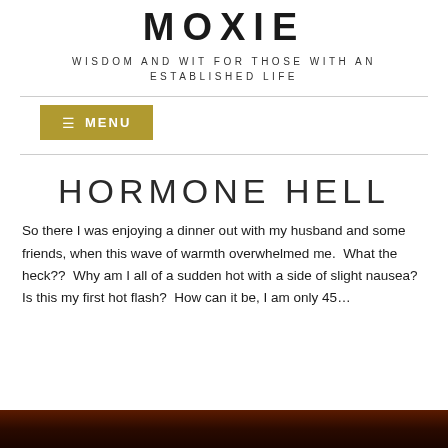MOXIE
WISDOM AND WIT FOR THOSE WITH AN ESTABLISHED LIFE
≡ MENU
HORMONE HELL
So there I was enjoying a dinner out with my husband and some friends, when this wave of warmth overwhelmed me.  What the heck??  Why am I all of a sudden hot with a side of slight nausea?  Is this my first hot flash?  How can it be, I am only 45…
[Figure (photo): Dark reddish-brown background image at bottom of page, appears to show a dim warm-toned scene]